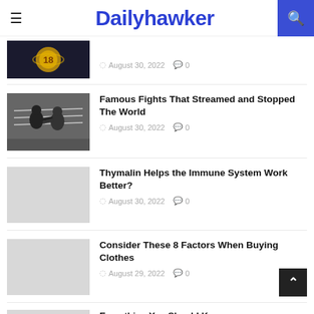Dailyhawker
Famous Fights That Streamed and Stopped The World — August 30, 2022 — 0 comments
Thymalin Helps the Immune System Work Better? — August 30, 2022 — 0 comments
Consider These 8 Factors When Buying Clothes — August 29, 2022 — 0 comments
Everything You Should Know About M... (partial)